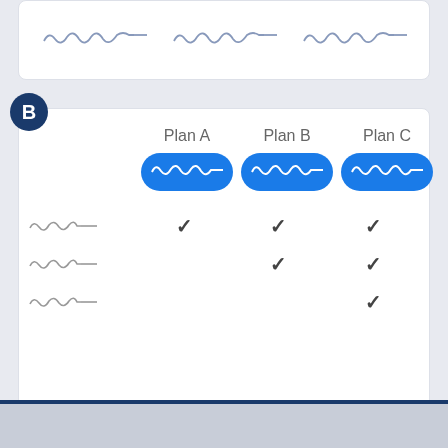[Figure (other): Partial view of a top card with squiggle/signature graphics]
[Figure (table-as-image): Plan comparison table showing Plan A, Plan B, Plan C with checkmarks for features. Plan A has 1 checkmark, Plan B has 2 checkmarks, Plan C has 3 checkmarks. Each plan has a blue button with wavy line graphic. Three feature rows are shown as squiggle labels on the left.]
Desktop
Mobile
Pricing
Product